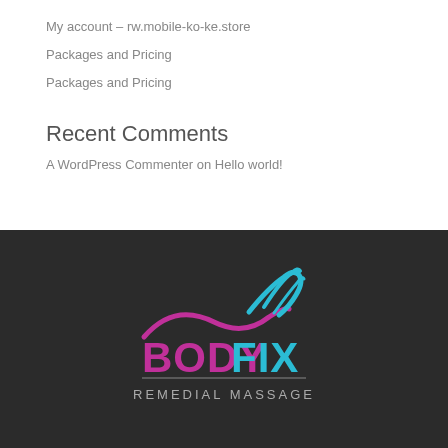My account – rw.mobile-ko-ke.store
Packages and Pricing
Packages and Pricing
Recent Comments
A WordPress Commenter on Hello world!
[Figure (logo): BodyFix Remedial Massage logo with pink and teal wave graphic above text BODYFIX REMEDIAL MASSAGE on dark background]